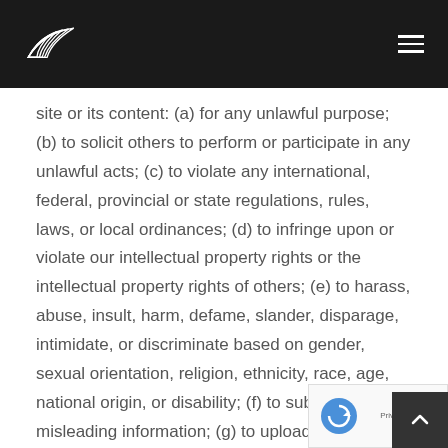[Figure (logo): White winged logo on dark header bar with hamburger menu icon on the right]
site or its content: (a) for any unlawful purpose; (b) to solicit others to perform or participate in any unlawful acts; (c) to violate any international, federal, provincial or state regulations, rules, laws, or local ordinances; (d) to infringe upon or violate our intellectual property rights or the intellectual property rights of others; (e) to harass, abuse, insult, harm, defame, slander, disparage, intimidate, or discriminate based on gender, sexual orientation, religion, ethnicity, race, age, national origin, or disability; (f) to submit false or misleading information; (g) to upload or transmit viruses or any other type of malicious code that will or may be used